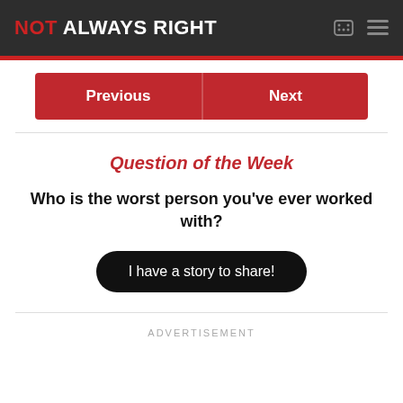NOT ALWAYS RIGHT
Previous
Next
Question of the Week
Who is the worst person you’ve ever worked with?
I have a story to share!
ADVERTISEMENT